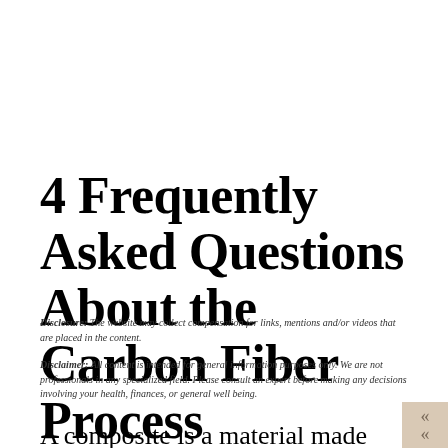4 Frequently Asked Questions About the Carbon Fiber Process
Disclosure: The website may collect compensation for links, mentions and/or videos that are placed in the content.
Disclaimer: All content is intended for general information purposes only. We are not professionals in any specialized field. Please consult an expert before making any decisions involving your health, finances, or general well being.
A composite is a material made from two or more